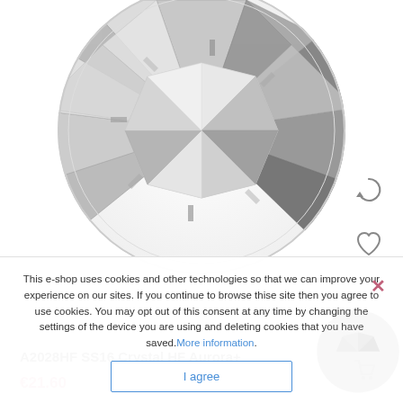[Figure (photo): Close-up top-down view of a crystal rhinestone (A2028HF SS16 Crystal HF Aurora+), showing faceted silver/clear gemstone with geometric facets, cropped circular shape on white background]
A2028HF SS16 Crystal HF Aurora+
€21.60
This e-shop uses cookies and other technologies so that we can improve your experience on our sites. If you continue to browse thise site then you agree to use cookies. You may opt out of this consent at any time by changing the settings of the device you are using and deleting cookies that you have saved. More information.
I agree